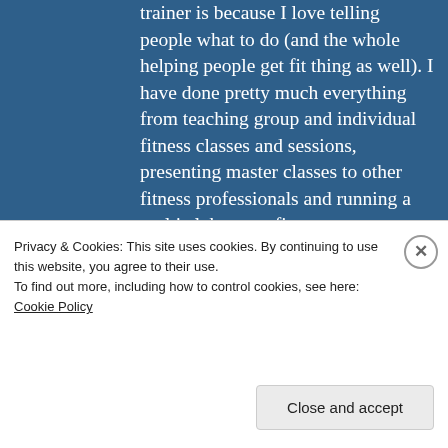trainer is because I love telling people what to do (and the whole helping people get fit thing as well). I have done pretty much everything from teaching group and individual fitness classes and sessions, presenting master classes to other fitness professionals and running a multi club group fitness program as a Director of Group Fitness. I am a Canadian Fitness Professional. www.canfitpro.com My current passion is running and I will talk endlessly about it if given even a
[Figure (photo): Circular portrait photo of a blonde woman, the blog author]
Privacy & Cookies: This site uses cookies. By continuing to use this website, you agree to their use.
To find out more, including how to control cookies, see here: Cookie Policy
Close and accept